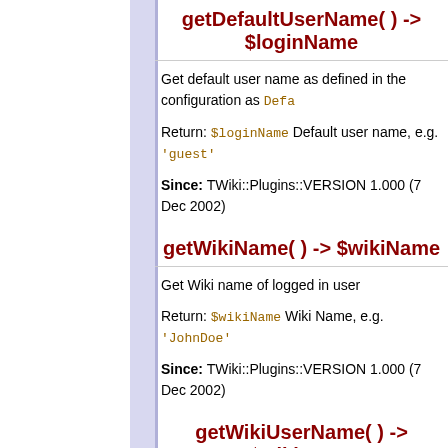getDefaultUserName( ) -> $loginName
Get default user name as defined in the configuration as Defa…
Return: $loginName Default user name, e.g. 'guest'
Since: TWiki::Plugins::VERSION 1.000 (7 Dec 2002)
getWikiName( ) -> $wikiName
Get Wiki name of logged in user
Return: $wikiName Wiki Name, e.g. 'JohnDoe'
Since: TWiki::Plugins::VERSION 1.000 (7 Dec 2002)
getWikiUserName( ) -> $wikiName
Get Wiki name of logged in user with web prefix
Return: $wikiName Wiki Name, e.g. "Main.JohnDoe"
Since: TWiki::Plugins::VERSION 1.000 (7 Dec 2002)